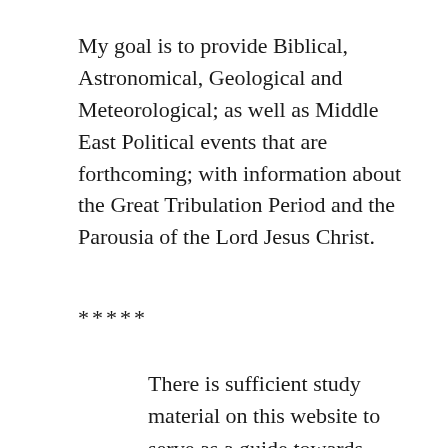My goal is to provide Biblical, Astronomical, Geological and Meteorological; as well as Middle East Political events that are forthcoming; with information about the Great Tribulation Period and the Parousia of the Lord Jesus Christ.
*****
There is sufficient study material on this website to serve as a guide towards understanding the Truthful Teaching of the Biblical Antichrist and his Islamic Caliphate in the Middle East Region; the Great Tribulation Period; the Seven Trumpets and Vials of the Book of